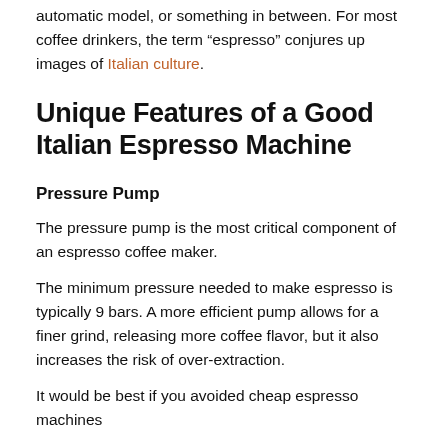automatic model, or something in between. For most coffee drinkers, the term “espresso” conjures up images of Italian culture.
Unique Features of a Good Italian Espresso Machine
Pressure Pump
The pressure pump is the most critical component of an espresso coffee maker.
The minimum pressure needed to make espresso is typically 9 bars. A more efficient pump allows for a finer grind, releasing more coffee flavor, but it also increases the risk of over-extraction.
It would be best if you avoided cheap espresso machines